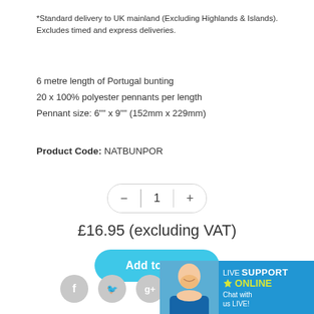*Standard delivery to UK mainland (Excluding Highlands & Islands). Excludes timed and express deliveries.
6 metre length of Portugal bunting
20 x 100% polyester pennants per length
Pennant size: 6"" x 9"" (152mm x 229mm)
Product Code: NATBUNPOR
[Figure (other): Quantity selector control showing minus button, value 1, and plus button in a pill-shaped container]
£16.95 (excluding VAT)
[Figure (other): Add to Cart button in blue/cyan rounded rectangle]
[Figure (other): Live Support Online banner with person photo, social media icons (Facebook, Twitter, Google+)]